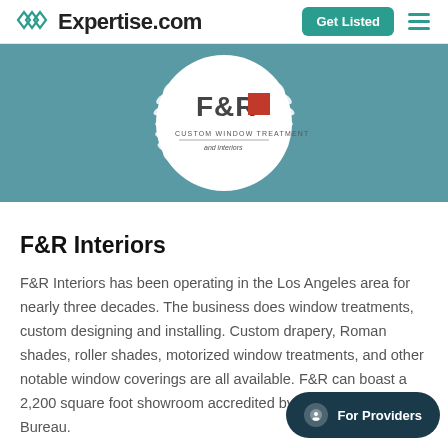Expertise.com  Get Listed
[Figure (logo): F&R Custom Window Treatment and Interiors logo inside a laurel wreath on a teal banner background]
F&R Interiors
F&R Interiors has been operating in the Los Angeles area for nearly three decades. The business does window treatments, custom designing and installing. Custom drapery, Roman shades, roller shades, motorized window treatments, and other notable window coverings are all available. F&R can boast a 2,200 square foot showroom accredited by the Better Business Bureau.